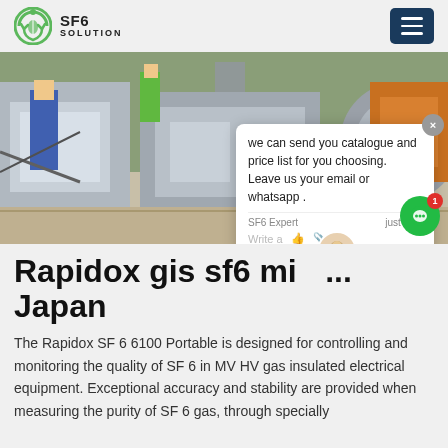SF6 SOLUTION
[Figure (photo): Industrial SF6 gas handling equipment on a job site, showing a worker in blue overalls, gray machinery, yellow step platform, and large pipe flange. A chat popup overlay is visible in the bottom right.]
Rapidox gis sf6 ... Japan
The Rapidox SF 6 6100 Portable is designed for controlling and monitoring the quality of SF 6 in MV HV gas insulated electrical equipment. Exceptional accuracy and stability are provided when measuring the purity of SF 6 gas, through specially